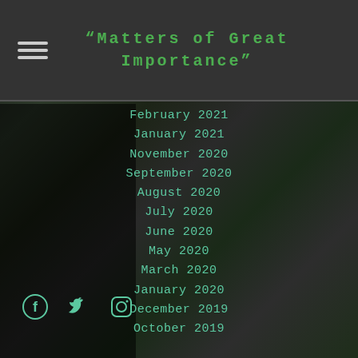“Matters of Great Importance”
February 2021
January 2021
November 2020
September 2020
August 2020
July 2020
June 2020
May 2020
March 2020
January 2020
December 2019
October 2019
[Figure (illustration): Social media icons: Facebook, Twitter, Instagram in teal color]